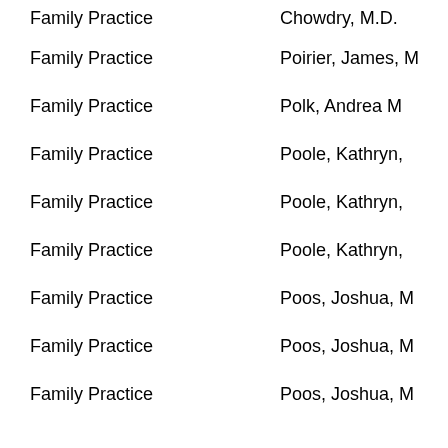Family Practice | Chowdry, M.D.
Family Practice | Poirier, James, M
Family Practice | Polk, Andrea M
Family Practice | Poole, Kathryn,
Family Practice | Poole, Kathryn,
Family Practice | Poole, Kathryn,
Family Practice | Poos, Joshua, M
Family Practice | Poos, Joshua, M
Family Practice | Poos, Joshua, M